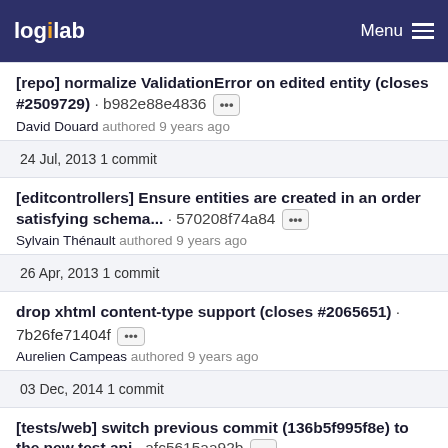logilab Menu
[repo] normalize ValidationError on edited entity (closes #2509729) · b982e88e4836
David Douard authored 9 years ago
24 Jul, 2013 1 commit
[editcontrollers] Ensure entities are created in an order satisfying schema... · 570208f74a84
Sylvain Thénault authored 9 years ago
26 Apr, 2013 1 commit
drop xhtml content-type support (closes #2065651) · 7b26fe71404f
Aurelien Campeas authored 9 years ago
03 Dec, 2014 1 commit
[tests/web] switch previous commit (136b5f995f8e) to the new test api · afc5615aa92b